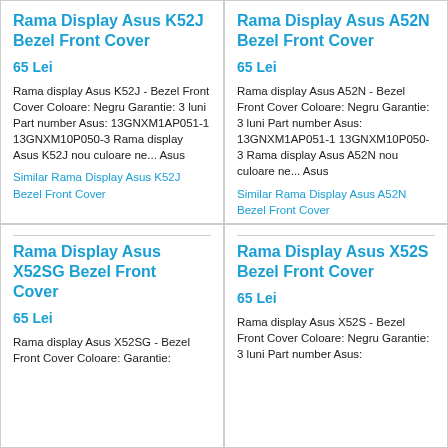Rama Display Asus K52J Bezel Front Cover
65 Lei
Rama display Asus K52J - Bezel Front Cover Coloare: Negru Garantie: 3 luni Part number Asus: 13GNXM1AP051-1 13GNXM10P050-3 Rama display Asus K52J nou culoare ne... Asus
Similar Rama Display Asus K52J Bezel Front Cover
Rama Display Asus A52N Bezel Front Cover
65 Lei
Rama display Asus A52N - Bezel Front Cover Coloare: Negru Garantie: 3 luni Part number Asus: 13GNXM1AP051-1 13GNXM10P050-3 Rama display Asus A52N nou culoare ne... Asus
Similar Rama Display Asus A52N Bezel Front Cover
Rama Display Asus X52SG Bezel Front Cover
65 Lei
Rama display Asus X52SG - Bezel Front Cover Coloare: Garantie:
Rama Display Asus X52S Bezel Front Cover
65 Lei
Rama display Asus X52S - Bezel Front Cover Coloare: Negru Garantie: 3 luni Part number Asus: